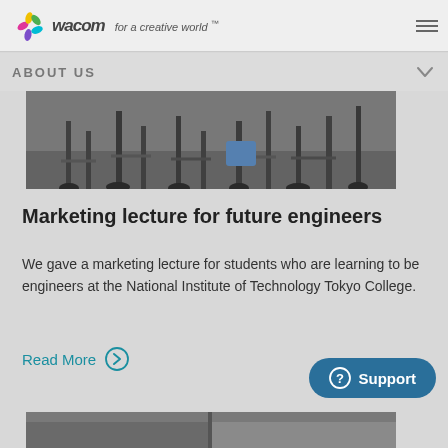wacom for a creative world™
ABOUT US
[Figure (photo): Cropped photo showing legs and chairs from a classroom or lecture setting]
Marketing lecture for future engineers
We gave a marketing lecture for students who are learning to be engineers at the National Institute of Technology Tokyo College.
Read More
[Figure (photo): Partial bottom photo strip visible at page bottom]